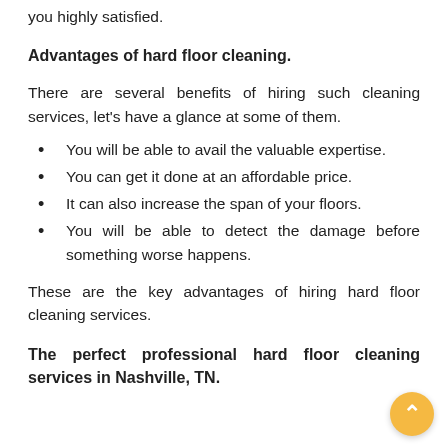you highly satisfied.
Advantages of hard floor cleaning.
There are several benefits of hiring such cleaning services, let's have a glance at some of them.
You will be able to avail the valuable expertise.
You can get it done at an affordable price.
It can also increase the span of your floors.
You will be able to detect the damage before something worse happens.
These are the key advantages of hiring hard floor cleaning services.
The perfect professional hard floor cleaning services in Nashville, TN.